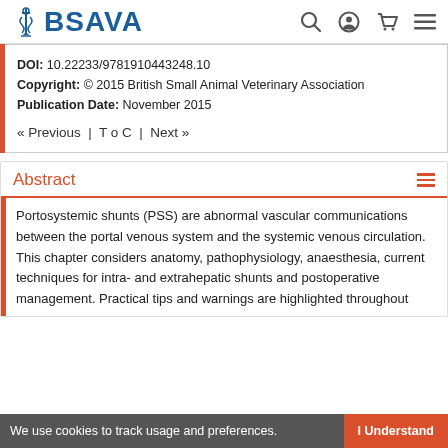BSAVA
DOI: 10.22233/9781910443248.10
Copyright: © 2015 British Small Animal Veterinary Association
Publication Date: November 2015
« Previous  |  T o C  |  Next »
Abstract
Portosystemic shunts (PSS) are abnormal vascular communications between the portal venous system and the systemic venous circulation. This chapter considers anatomy, pathophysiology, anaesthesia, current techniques for intra- and extrahepatic shunts and postoperative management. Practical tips and warnings are highlighted throughout
We use cookies to track usage and preferences.  I Understand